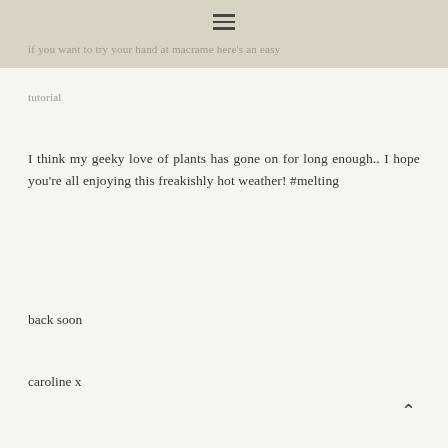if you want to try your hand at macrame here's an easy tutorial
I think my geeky love of plants has gone on for long enough.. I hope you're all enjoying this freakishly hot weather! #melting
back soon
caroline x